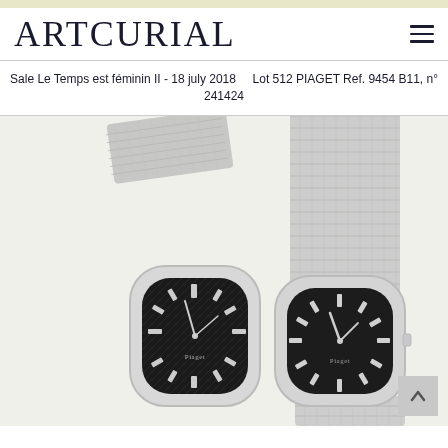ARTCURIAL
Sale Le Temps est féminin II - 18 july 2018   Lot 512 PIAGET Ref. 9454 B11, n° 241424
[Figure (photo): Two Piaget wristwatches with dark/black dials and silver mesh bracelets on a light background. The watch on the left has a textured black dial with silver hour markers. The watch on the right has a cleaner black dial with silver baton markers and the Piaget signature visible.]